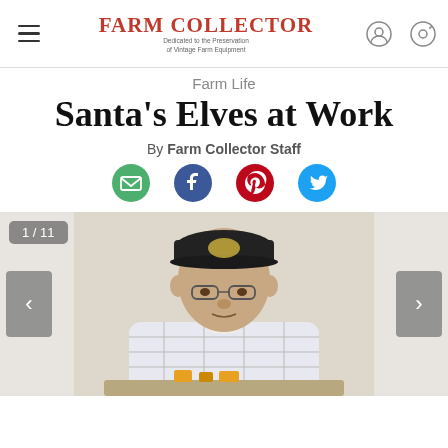Farm Collector — Dedicated to the Preservation of Vintage Farm Equipment
Farm Life
Santa's Elves at Work
By Farm Collector Staff
[Figure (photo): Elderly man wearing a black cap and plaid shirt, seated at a table with small model objects in front of him. Slideshow showing 1 of 11.]